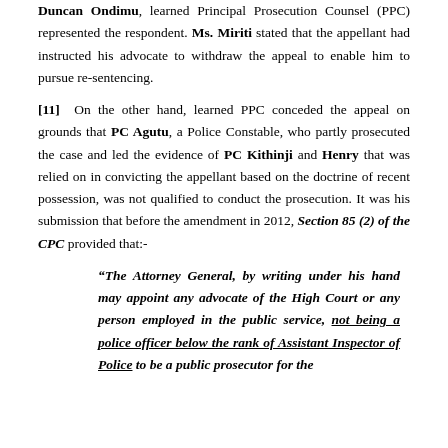Duncan Ondimu, learned Principal Prosecution Counsel (PPC) represented the respondent. Ms. Miriti stated that the appellant had instructed his advocate to withdraw the appeal to enable him to pursue re-sentencing.
[11] On the other hand, learned PPC conceded the appeal on grounds that PC Agutu, a Police Constable, who partly prosecuted the case and led the evidence of PC Kithinji and Henry that was relied on in convicting the appellant based on the doctrine of recent possession, was not qualified to conduct the prosecution. It was his submission that before the amendment in 2012, Section 85 (2) of the CPC provided that:-
“The Attorney General, by writing under his hand may appoint any advocate of the High Court or any person employed in the public service, not being a police officer below the rank of Assistant Inspector of Police to be a public prosecutor for the